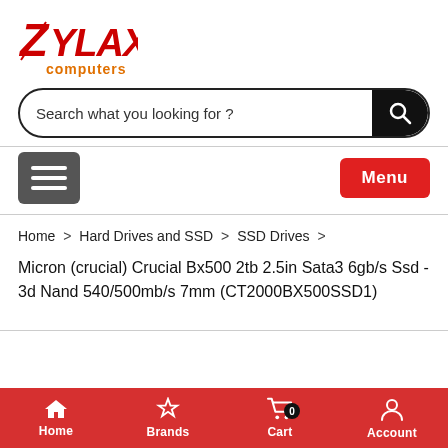[Figure (logo): Zylax Computers logo - red stylized text 'Zylax' with orange 'computers' underneath]
Search what you looking for ?
Home > Hard Drives and SSD > SSD Drives >
Micron (crucial) Crucial Bx500 2tb 2.5in Sata3 6gb/s Ssd - 3d Nand 540/500mb/s 7mm (CT2000BX500SSD1)
Home   Brands   Cart  0   Account